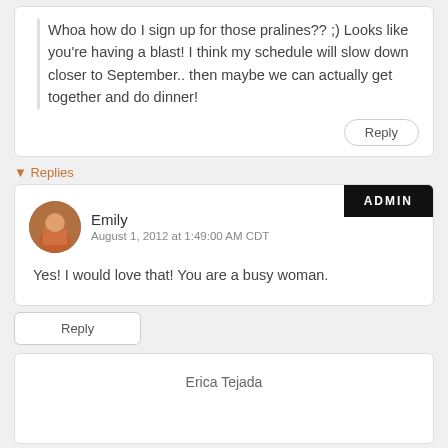Whoa how do I sign up for those pralines?? ;) Looks like you're having a blast! I think my schedule will slow down closer to September.. then maybe we can actually get together and do dinner!
Replies
ADMIN
Emily
August 1, 2012 at 1:49:00 AM CDT
Yes! I would love that! You are a busy woman.
Erica Tejada